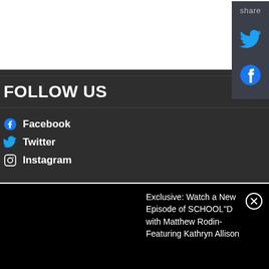FOLLOW US
Facebook
Twitter
Instagram
share
Exclusive: Watch a New Episode of SCHOOL"D with Matthew Rodin- Featuring Kathryn Allison